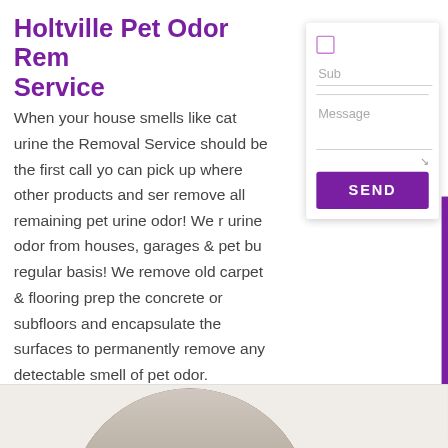Holtville Pet Odor Removal Service
When your house smells like cat urine the Removal Service should be the first call you can pick up where other products and services remove all remaining pet urine odor! We remove urine odor from houses, garages & pet businesses on a regular basis! We remove old carpet & flooring prep the concrete or subfloors and encapsulate the surfaces to permanently remove any detectable smell of pet odor.
[Figure (screenshot): Contact form panel with checkbox, Subject field, Message textarea, resize handle, and purple SEND button]
[Figure (photo): Interior room photo showing damaged/stained flooring, shown in a circular crop within a white card at the bottom of the page]
[Figure (other): PAY VIA PAYPAL vertical tab on right edge in purple]
[Figure (other): Light purple scroll-to-top button with upward chevron arrow]